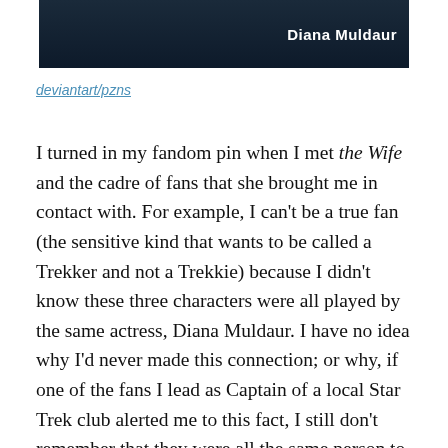[Figure (photo): Dark banner image with text 'Diana Muldaur' in white bold text on the right side against a dark background]
deviantart/pzns
I turned in my fandom pin when I met the Wife and the cadre of fans that she brought me in contact with. For example, I can't be a true fan (the sensitive kind that wants to be called a Trekker and not a Trekkie) because I didn't know these three characters were all played by the same actress, Diana Muldaur. I have no idea why I'd never made this connection; or why, if one of the fans I lead as Captain of a local Star Trek club alerted me to this fact, I still don't remember that they were all the same person to this day. Trivia is a thing that I've never found important enough to remember, thereby